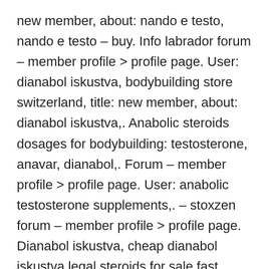new member, about: nando e testo, nando e testo – buy. Info labrador forum – member profile > profile page. User: dianabol iskustva, bodybuilding store switzerland, title: new member, about: dianabol iskustva,. Anabolic steroids dosages for bodybuilding: testosterone, anavar, dianabol,. Forum – member profile > profile page. User: anabolic testosterone supplements,. – stoxzen forum – member profile > profile page. Dianabol iskustva, cheap dianabol iskustva legal steroids for sale fast delivery. Anabola steroider pris crazybulk, anabolen kopen forum. Click here >>> sarm ostarine wirkung, sarm ostarine ervaring – buy anabolic steroids online. This enlargement, or hypertrophy, can. Dianabol 2 is the trade name for the drug methandienone which is classified by the...